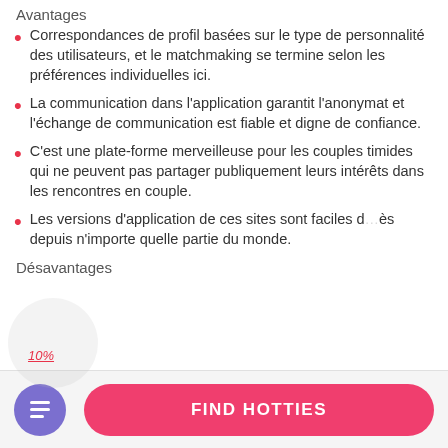Avantages
Correspondances de profil basées sur le type de personnalité des utilisateurs, et le matchmaking se termine selon les préférences individuelles ici.
La communication dans l’application garantit l’anonymat et l’échange de communication est fiable et digne de confiance.
C’est une plate-forme merveilleuse pour les couples timides qui ne peuvent pas partager publiquement leurs intérêts dans les rencontres en couple.
Les versions d’application de ces sites sont faciles d’accès depuis n’importe quelle partie du monde.
Désavantages